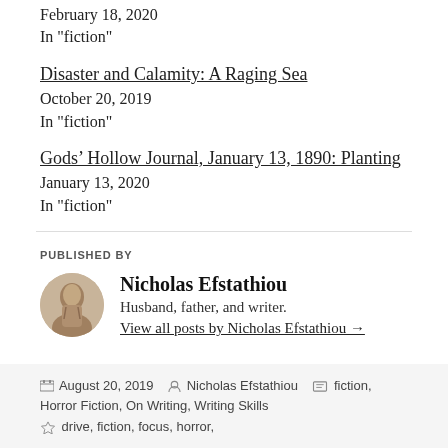February 18, 2020
In "fiction"
Disaster and Calamity: A Raging Sea
October 20, 2019
In "fiction"
Gods' Hollow Journal, January 13, 1890: Planting
January 13, 2020
In "fiction"
PUBLISHED BY
Nicholas Efstathiou
Husband, father, and writer.
View all posts by Nicholas Efstathiou →
August 20, 2019   Nicholas Efstathiou   fiction, Horror Fiction, On Writing, Writing Skills   drive, fiction, focus, horror,